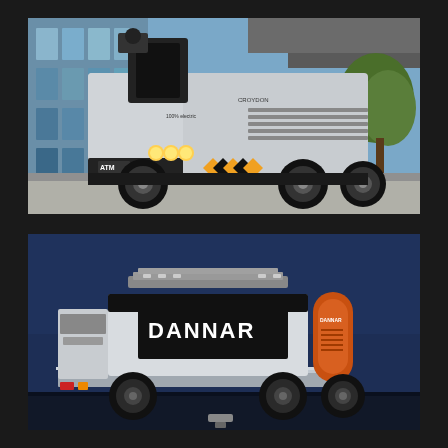[Figure (photo): Front view of a large electric towing vehicle (Croydon brand, 100% electric) with ATM logo on the front bumper, distinctive orange/black hazard chevrons, round headlights, and large industrial design. Parked outside a glass-facade building with autumn trees visible in background.]
[Figure (photo): Rear three-quarter view of a DANNAR electric mobile power station vehicle, white and black body with orange accent panels, flatbed platform visible, parked against a dark blue background.]